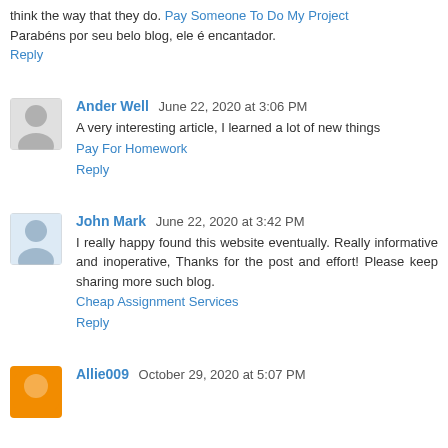think the way that they do. Pay Someone To Do My Project Parabéns por seu belo blog, ele é encantador.
Reply
Ander Well  June 22, 2020 at 3:06 PM
A very interesting article, I learned a lot of new things
Pay For Homework
Reply
John Mark  June 22, 2020 at 3:42 PM
I really happy found this website eventually. Really informative and inoperative, Thanks for the post and effort! Please keep sharing more such blog.
Cheap Assignment Services
Reply
Allie009  October 29, 2020 at 5:07 PM